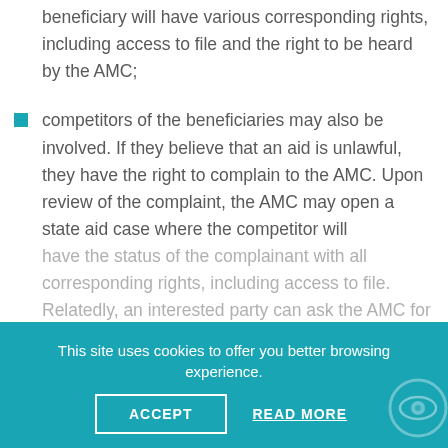beneficiary will have various corresponding rights, including access to file and the right to be heard by the AMC;
competitors of the beneficiaries may also be involved. If they believe that an aid is unlawful, they have the right to complain to the AMC. Upon review of the complaint, the AMC may open a state aid case where the competitor will have the status of the complainant with all corresponding rights, including access to file. Relatedly, an interested party can ask the AMC for a team.
This site uses cookies to offer you better browsing experience.